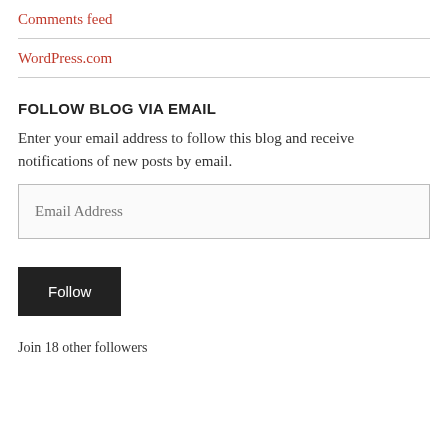Comments feed
WordPress.com
FOLLOW BLOG VIA EMAIL
Enter your email address to follow this blog and receive notifications of new posts by email.
Email Address
Follow
Join 18 other followers